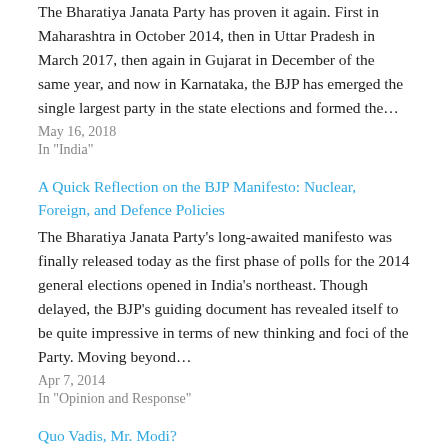The Bharatiya Janata Party has proven it again. First in Maharashtra in October 2014, then in Uttar Pradesh in March 2017, then again in Gujarat in December of the same year, and now in Karnataka, the BJP has emerged the single largest party in the state elections and formed the…
May 16, 2018
In "India"
A Quick Reflection on the BJP Manifesto: Nuclear, Foreign, and Defence Policies
The Bharatiya Janata Party's long-awaited manifesto was finally released today as the first phase of polls for the 2014 general elections opened in India's northeast. Though delayed, the BJP's guiding document has revealed itself to be quite impressive in terms of new thinking and foci of the Party. Moving beyond…
Apr 7, 2014
In "Opinion and Response"
Quo Vadis, Mr. Modi?
It ought to be clear by now that neither the Indian National Congress nor the country's media have any interest in critiquing Narendra Modi, the Chief Minister of Gujarat and the potential prime ministerial candidate of